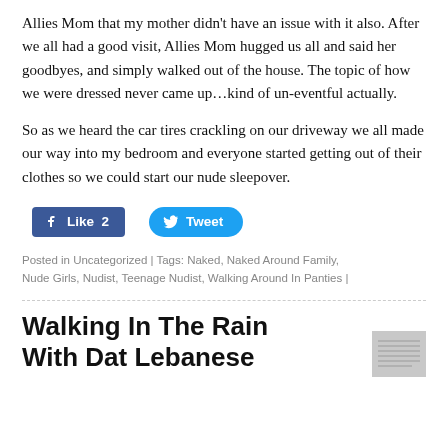Allies Mom that my mother didn't have an issue with it also. After we all had a good visit, Allies Mom hugged us all and said her goodbyes, and simply walked out of the house. The topic of how we were dressed never came up…kind of un-eventful actually.
So as we heard the car tires crackling on our driveway we all made our way into my bedroom and everyone started getting out of their clothes so we could start our nude sleepover.
[Figure (other): Facebook Like button showing count of 2 and Twitter Tweet button]
Posted in Uncategorized | Tags: Naked, Naked Around Family, Nude Girls, Nudist, Teenage Nudist, Walking Around In Panties |
Walking In The Rain With Dat Lebanese